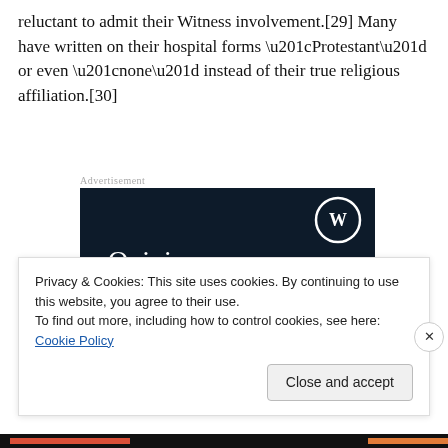reluctant to admit their Witness involvement.[29] Many have written on their hospital forms “Protestant” or even “none” instead of their true religious affiliation.[30]
[Figure (illustration): WordPress advertisement banner with dark navy background showing 'Opinions. We all have them!' text with WordPress logo in top right corner, and a pink button at bottom.]
Privacy & Cookies: This site uses cookies. By continuing to use this website, you agree to their use.
To find out more, including how to control cookies, see here: Cookie Policy